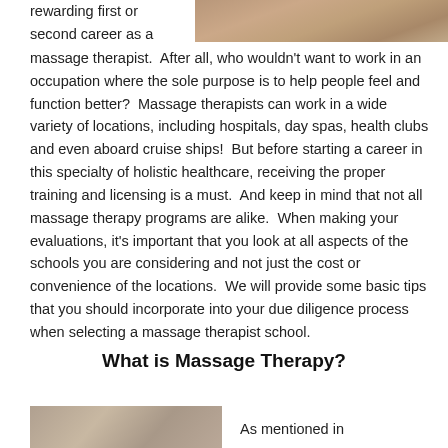[Figure (photo): Partial photo of hands performing massage therapy, cropped at top]
rewarding first or second career as a massage therapist.  After all, who wouldn't want to work in an occupation where the sole purpose is to help people feel and function better?  Massage therapists can work in a wide variety of locations, including hospitals, day spas, health clubs and even aboard cruise ships!  But before starting a career in this specialty of holistic healthcare, receiving the proper training and licensing is a must.  And keep in mind that not all massage therapy programs are alike.  When making your evaluations, it's important that you look at all aspects of the schools you are considering and not just the cost or convenience of the locations.  We will provide some basic tips that you should incorporate into your due diligence process when selecting a massage therapist school.
What is Massage Therapy?
[Figure (photo): Partial photo at bottom left showing massage therapy]
As mentioned in